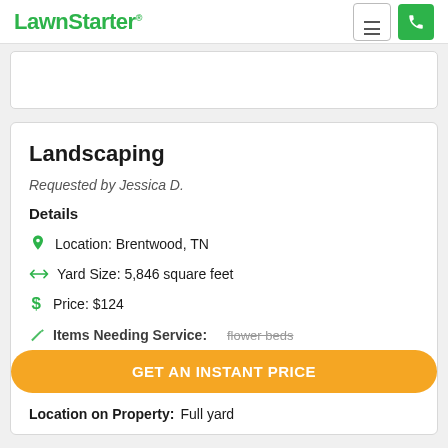LawnStarter
Landscaping
Requested by Jessica D.
Details
Location: Brentwood, TN
Yard Size: 5,846 square feet
Price: $124
Items Needing Service: flower beds
GET AN INSTANT PRICE
Location on Property: Full yard